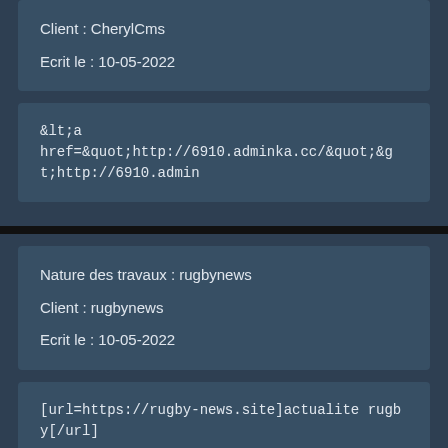Client : CherylCms
Ecrit le : 10-05-2022
&lt;a href=&quot;http://6910.adminka.cc/&quot;&gt;http://6910.admi...
Nature des travaux : rugbynews
Client : rugbynews
Ecrit le : 10-05-2022
[url=https://rugby-news.site]actualite rugby[/url]